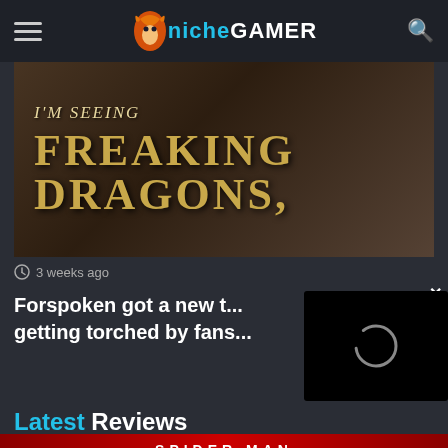Niche Gamer
[Figure (screenshot): Dark fantasy screenshot with text overlay reading: I'M SEEING FREAKING DRAGONS,]
3 weeks ago
Forspoken got a new t... getting torched by fans...
[Figure (screenshot): Video player popup with loading spinner circle on black background]
Latest Reviews
[Figure (screenshot): Spider-Man banner at the bottom, partially visible]